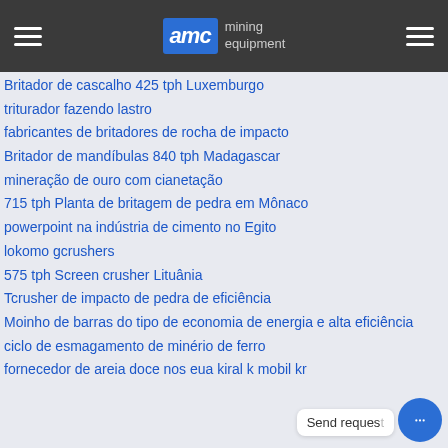AMC mining equipment
Britador de cascalho 425 tph Luxemburgo
triturador fazendo lastro
fabricantes de britadores de rocha de impacto
Britador de mandíbulas 840 tph Madagascar
mineração de ouro com cianetação
715 tph Planta de britagem de pedra em Mônaco
powerpoint na indústria de cimento no Egito
lokomo gcrushers
575 tph Screen crusher Lituânia
Tcrusher de impacto de pedra de eficiência
Moinho de barras do tipo de economia de energia e alta eficiência
ciclo de esmagamento de minério de ferro
fornecedor de areia doce nos eua kiral k mobil kr
Send request